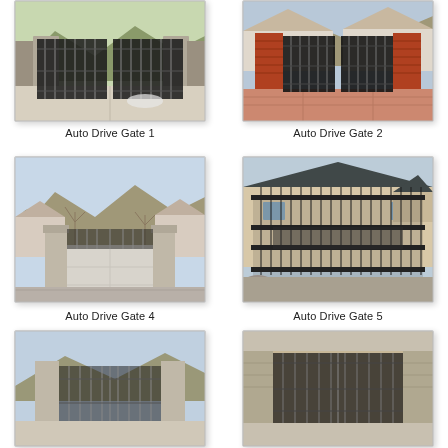[Figure (photo): Iron/steel double swing driveway gate (Auto Drive Gate 1) in front of a stone wall, residential driveway with mountains in background]
Auto Drive Gate 1
[Figure (photo): Ornamental iron double driveway gate (Auto Drive Gate 2) in front of a brick pillar home with red stamped concrete driveway]
Auto Drive Gate 2
[Figure (photo): Wide residential driveway with stone pillar gate entrance (Auto Drive Gate 4) surrounded by large homes and mountain backdrop]
Auto Drive Gate 4
[Figure (photo): Decorative iron sliding/swing gate (Auto Drive Gate 5) in front of a two-story beige/tan home with rocks and landscaping]
Auto Drive Gate 5
[Figure (photo): Partial view of Auto Drive Gate 7 (bottom row, left), cropped at page edge]
[Figure (photo): Partial view of Auto Drive Gate 8 (bottom row, right), cropped at page edge]